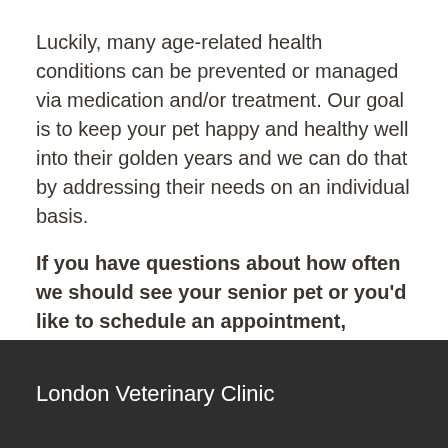Luckily, many age-related health conditions can be prevented or managed via medication and/or treatment. Our goal is to keep your pet happy and healthy well into their golden years and we can do that by addressing their needs on an individual basis.
If you have questions about how often we should see your senior pet or you’d like to schedule an appointment, please call us at (606) 878-6965.
London Veterinary Clinic